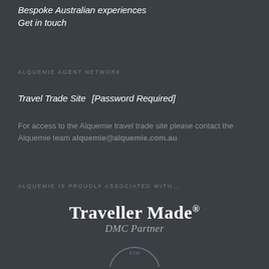Bespoke Australian experiences
Get in touch
ALQUEMIE AGENT NETWORK
Travel Trade Site  [Password Required]
For access to the Alquemie travel trade site please contact the Alquemie team alquemie@alquemie.com.au
ALQUEMIE IS PROUDLY ASSOCIATED WITH...
[Figure (logo): Traveller Made DMC Partner logo with text in white and grey on dark background]
[Figure (logo): Circular logo partially visible at bottom of page]